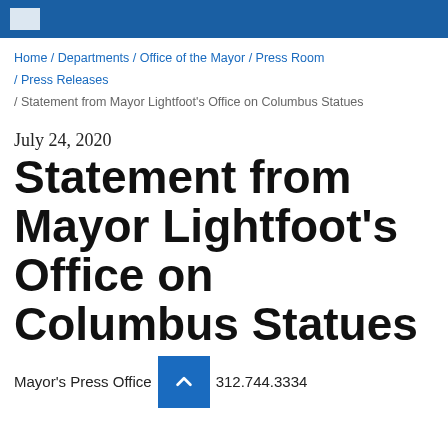Home / Departments / Office of the Mayor / Press Room / Press Releases / Statement from Mayor Lightfoot's Office on Columbus Statues
July 24, 2020
Statement from Mayor Lightfoot's Office on Columbus Statues
Mayor's Press Office   312.744.3334